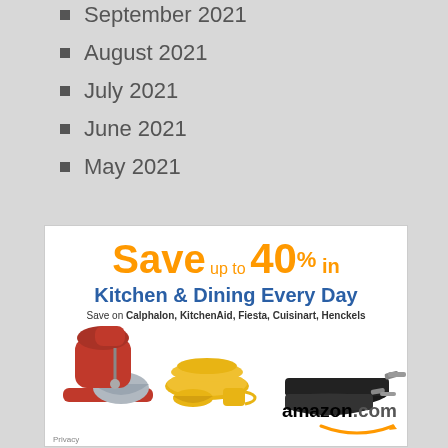September 2021
August 2021
July 2021
June 2021
May 2021
[Figure (illustration): Amazon advertisement banner: Save up to 40% in Kitchen & Dining Every Day. Save on Calphalon, KitchenAid, Fiesta, Cuisinart, Henckels. Shows red KitchenAid stand mixer, yellow dinnerware set, and black frying pans. amazon.com logo with arrow. Privacy link at bottom left.]